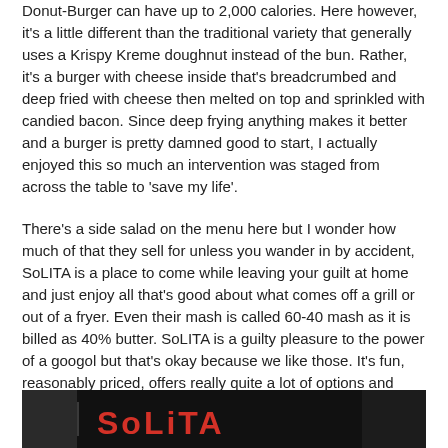Donut-Burger can have up to 2,000 calories. Here however, it's a little different than the traditional variety that generally uses a Krispy Kreme doughnut instead of the bun. Rather, it's a burger with cheese inside that's breadcrumbed and deep fried with cheese then melted on top and sprinkled with candied bacon. Since deep frying anything makes it better and a burger is pretty damned good to start, I actually enjoyed this so much an intervention was staged from across the table to 'save my life'.
There's a side salad on the menu here but I wonder how much of that they sell for unless you wander in by accident, SoLITA is a place to come while leaving your guilt at home and just enjoy all that's good about what comes off a grill or out of a fryer. Even their mash is called 60-40 mash as it is billed as 40% butter. SoLITA is a guilty pleasure to the power of a googol but that's okay because we like those. It's fun, reasonably priced, offers really quite a lot of options and never takes itself too seriously except in wanting to deliver good food to its customers. What's not to like?
[Figure (photo): Bottom portion of a photo showing a dark background with red lettering, likely a SoLITA restaurant sign, partially visible at the bottom of the page.]